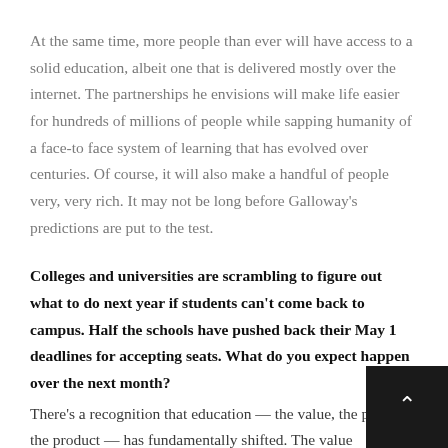At the same time, more people than ever will have access to a solid education, albeit one that is delivered mostly over the internet. The partnerships he envisions will make life easier for hundreds of millions of people while sapping humanity of a face-to face system of learning that has evolved over centuries. Of course, it will also make a handful of people very, very rich. It may not be long before Galloway's predictions are put to the test.
Colleges and universities are scrambling to figure out what to do next year if students can't come back to campus. Half the schools have pushed back their May 1 deadlines for accepting seats. What do you expect happen over the next month?
There's a recognition that education — the value, the price, the product — has fundamentally shifted. The value